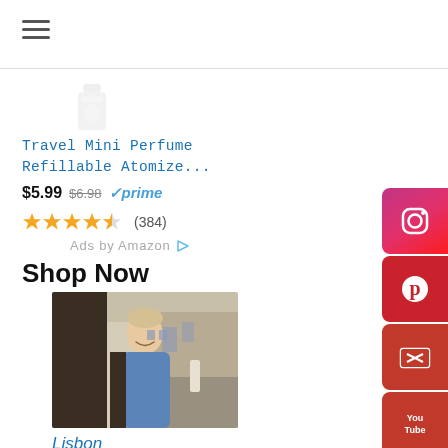[Figure (other): Hamburger menu icon (three horizontal lines)]
[Figure (other): Faded product image (perfume atomizer) at top of ad card]
Travel Mini Perfume Refillable Atomize...
$5.99  $6.98  ✓prime
[Figure (other): 4.5 star rating (384 reviews)]
(384)
Ads by Amazon ▷
Shop Now
[Figure (photo): Man in blue shirt smiling on a European street, Lisbon travel photo]
Lisbon
$2.99
[Figure (other): 5 star rating (129 reviews) — partially visible]
(129)
[Figure (other): Instagram social share button (pink/red gradient)]
[Figure (other): Pinterest social share button (red)]
[Figure (other): Email social share button (red)]
[Figure (other): YouTube social share button (red)]